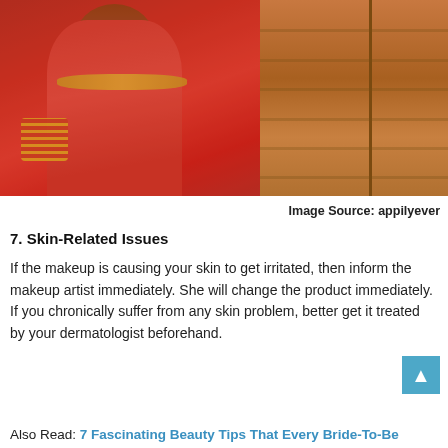[Figure (photo): Indian bride in red and gold bridal outfit with heavy gold jewelry, bangles, and red dupatta, standing near a wooden door, with attendants visible around her]
Image Source: appilyever
7. Skin-Related Issues
If the makeup is causing your skin to get irritated, then inform the makeup artist immediately. She will change the product immediately. If you chronically suffer from any skin problem, better get it treated by your dermatologist beforehand.
Also Read: 7 Fascinating Beauty Tips That Every Bride-To-Be